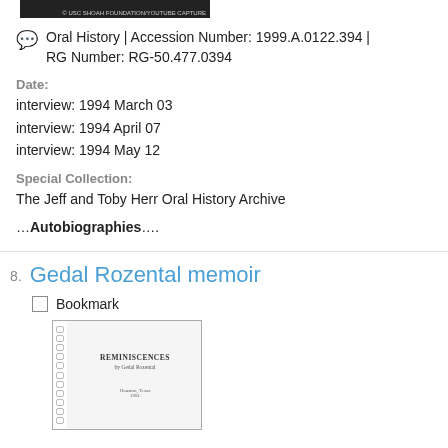[Figure (photo): Small dark thumbnail image at top of page]
Oral History | Accession Number: 1999.A.0122.394 | RG Number: RG-50.477.0394
Date:
interview: 1994 March 03
interview: 1994 April 07
interview: 1994 May 12
Special Collection:
The Jeff and Toby Herr Oral History Archive
…Autobiographies….
Gedal Rozental memoir
Bookmark
[Figure (photo): Thumbnail image of a document cover titled REMINISCENCES with spiral binding on the left side]